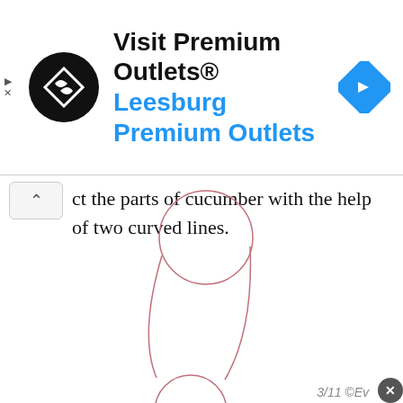[Figure (screenshot): Advertisement banner for Premium Outlets showing logo, text 'Visit Premium Outlets® Leesburg Premium Outlets', and a navigation arrow icon]
ct the parts of cucumber with the help of two curved lines.
[Figure (illustration): Drawing guide showing two circles connected by two curved lines representing the elongated body of a cucumber - top circle at upper center and bottom circle lower and slightly left, connected by curved lines forming a cylindrical shape]
3/11 ©Ev